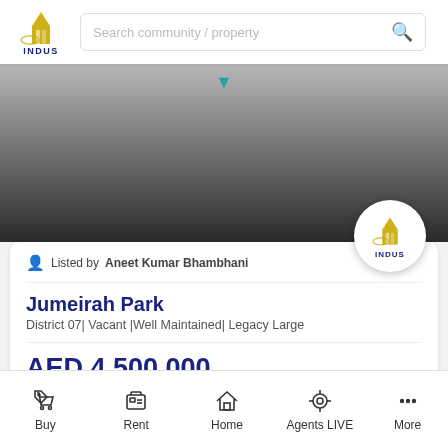INDUS — Search community / property
[Figure (photo): Property listing image with dark gradient overlay and INDUS logo badge]
Listed by Aneet Kumar Bhambhani
Jumeirah Park
District 07| Vacant |Well Maintained| Legacy Large
AED 4,500,000
DTCM # 6513522500
5866 sqft   3 Beds   3 Bath
Buy   Rent   Home   Agents LIVE   More